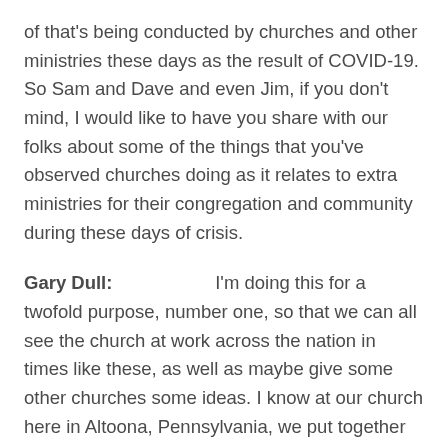of that's being conducted by churches and other ministries these days as the result of COVID-19. So Sam and Dave and even Jim, if you don't mind, I would like to have you share with our folks about some of the things that you've observed churches doing as it relates to extra ministries for their congregation and community during these days of crisis.
Gary Dull:                    I'm doing this for a twofold purpose, number one, so that we can all see the church at work across the nation in times like these, as well as maybe give some other churches some ideas. I know at our church here in Altoona, Pennsylvania, we put together originally about 22 extra things that we were going to do to minister during these days. I think it's up to about